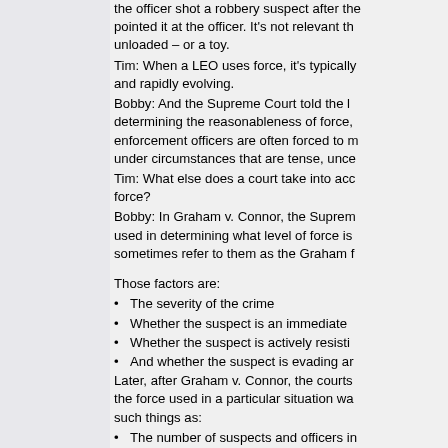the officer shot a robbery suspect after the suspect pointed it at the officer.  It's not relevant that the gun was unloaded – or a toy.
Tim:  When a LEO uses force, it's typically tense and rapidly evolving.
Bobby:  And the Supreme Court told the lower courts that in determining the reasonableness of force, law enforcement officers are often forced to make decisions under circumstances that are tense, uncertain,
Tim:  What else does a court take into account about force?
Bobby:  In Graham v. Connor, the Supreme Court listed factors used in determining what level of force is reasonable. Courts sometimes refer to them as the Graham f
Those factors are:
The severity of the crime
Whether the suspect is an immediate
Whether the suspect is actively resisting
And whether the suspect is evading ar
Later, after Graham v. Connor, the courts looked at whether the force used in a particular situation was reasonable given such things as:
The number of suspects and officers in
The size, age, and condition of the officer
The duration of the action